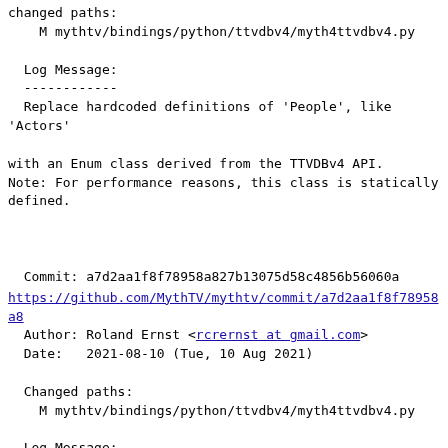changed paths:
    M mythtv/bindings/python/ttvdbv4/myth4ttvdbv4.py

  Log Message:
  ------------
  Replace hardcoded definitions of 'People', like 'Actors'

with an Enum class derived from the TTVDBv4 API.
Note: For performance reasons, this class is statically defined.



  Commit: a7d2aa1f8f78958a827b13075d58c4856b56060a
https://github.com/MythTV/mythtv/commit/a7d2aa1f8f78958a8
  Author: Roland Ernst <rcrernst at gmail.com>
  Date:   2021-08-10 (Tue, 10 Aug 2021)

  Changed paths:
    M mythtv/bindings/python/ttvdbv4/myth4ttvdbv4.py

  Log Message:
  ------------
  Clarify mythtv grabber version of the http 'User-Agent'.



  Commit: 1e626e134e47e2159a29f21fd7cb921e233dd261
https://github.com/MythTV/mythtv/commit/1e626e134e47e215e